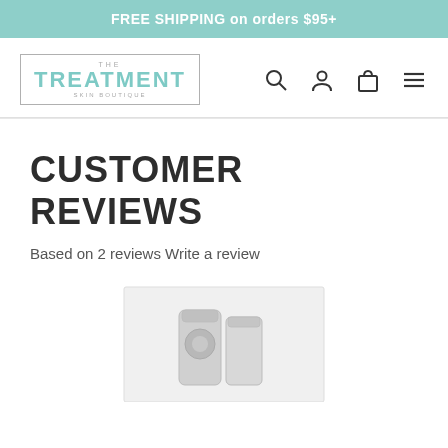FREE SHIPPING on orders $95+
[Figure (logo): The Treatment Skin Boutique logo with teal text inside a rectangular border]
[Figure (infographic): Navigation icons: search magnifying glass, user/account person icon, shopping bag, hamburger menu]
CUSTOMER REVIEWS
Based on 2 reviews Write a review
[Figure (photo): Partial product image showing silver/metallic skincare product containers at the bottom of the page]